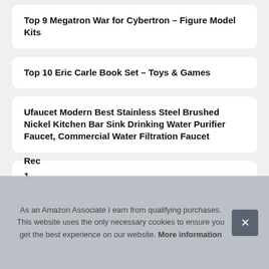Top 9 Megatron War for Cybertron – Figure Model Kits
Top 10 Eric Carle Book Set – Toys & Games
Ufaucet Modern Best Stainless Steel Brushed Nickel Kitchen Bar Sink Drinking Water Purifier Faucet, Commercial Water Filtration Faucet
1
Rec
As an Amazon Associate I earn from qualifying purchases. This website uses the only necessary cookies to ensure you get the best experience on our website. More information